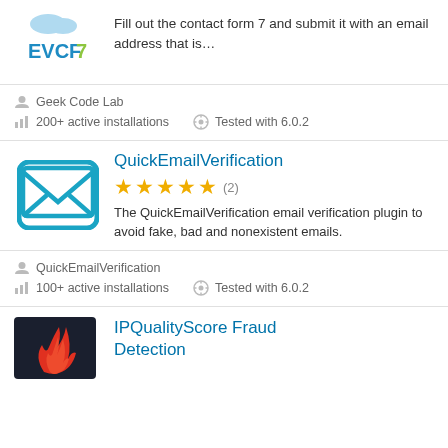[Figure (logo): EVCF7 plugin logo with teal/blue text and green 7]
Fill out the contact form 7 and submit it with an email address that is…
Geek Code Lab
200+ active installations
Tested with 6.0.2
QuickEmailVerification
[Figure (other): 5 gold stars rating with (2) reviews count]
The QuickEmailVerification email verification plugin to avoid fake, bad and nonexistent emails.
QuickEmailVerification
100+ active installations
Tested with 6.0.2
IPQualityScore Fraud Detection
[Figure (logo): IPQualityScore dark logo with flame/fire graphic]